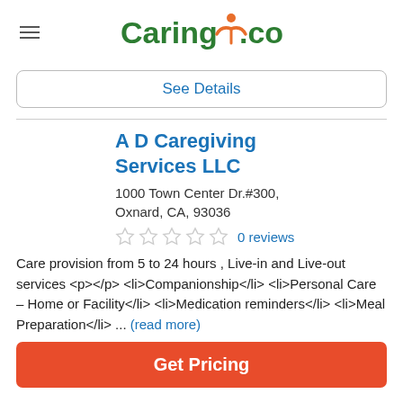Caring.com
See Details
A D Caregiving Services LLC
1000 Town Center Dr.#300, Oxnard, CA, 93036
0 reviews
Care provision from 5 to 24 hours , Live-in and Live-out services <p></p> <li>Companionship</li> <li>Personal Care – Home or Facility</li> <li>Medication reminders</li> <li>Meal Preparation</li> ... (read more)
Get Pricing